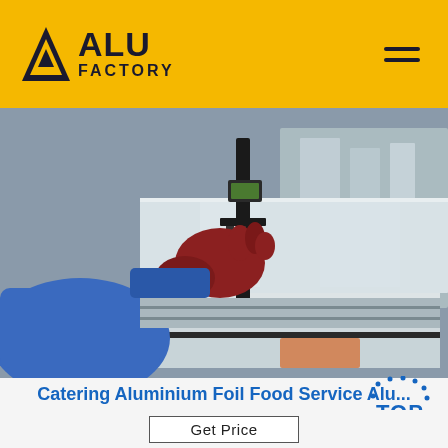[Figure (logo): ALU FACTORY logo — yellow background header with dark block letter A icon and ALU FACTORY text, hamburger menu icon top right]
[Figure (photo): Industrial photo of a worker in blue jacket and red gloves using a measuring caliper tool on stacked aluminum sheets in a factory setting]
Catering Aluminium Foil Food Service Alu...
Catering aluminum foil roll also called food service aluminu...